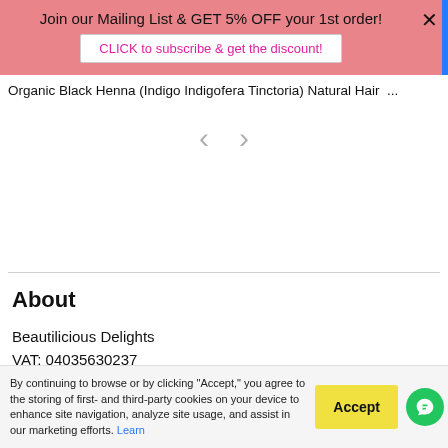Join our Mailing List & GET 5% OFF your 1st order! CLICK to subscribe & get the discount!
Organic Black Henna (Indigo Indigofera Tinctoria) Natural Hair ...
[Figure (other): Image carousel navigation area with left and right chevron arrows]
About
Beautilicious Delights
VAT: 04035630237
Via Don Bertoni
By continuing to browse or by clicking "Accept," you agree to the storing of first- and third-party cookies on your device to enhance site navigation, analyze site usage, and assist in our marketing efforts. Learn